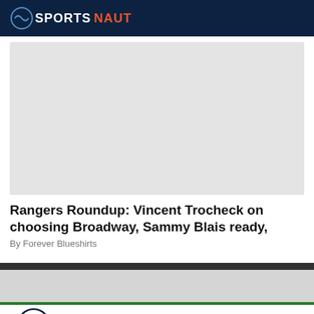SPORTSNAUT
[Figure (photo): Large image placeholder (gray rectangle)]
Rangers Roundup: Vincent Trocheck on choosing Broadway, Sammy Blais ready,
By Forever Blueshirts
[Figure (logo): Sportsnaut footer logo and social media icons (Facebook, Twitter, LinkedIn, Instagram, YouTube)]